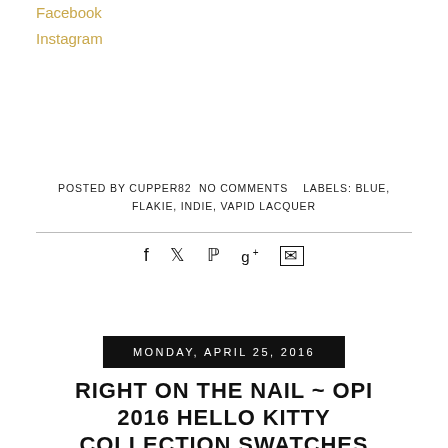Facebook
Instagram
POSTED BY CUPPER82 NO COMMENTS    LABELS: BLUE, FLAKIE, INDIE, VAPID LACQUER
f  𝕥  𝕡  g+  ✉
MONDAY, APRIL 25, 2016
RIGHT ON THE NAIL ~ OPI 2016 HELLO KITTY COLLECTION SWATCHES AND REVIEWS PART II: MY